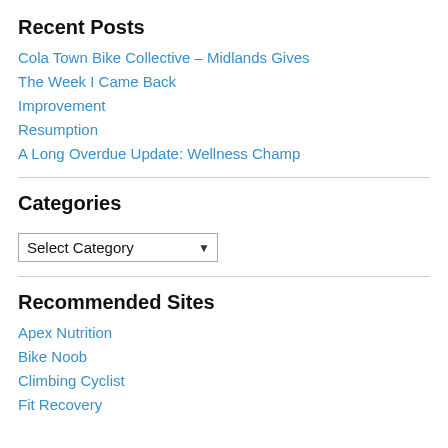Recent Posts
Cola Town Bike Collective – Midlands Gives
The Week I Came Back
Improvement
Resumption
A Long Overdue Update: Wellness Champ
Categories
Select Category (dropdown)
Recommended Sites
Apex Nutrition
Bike Noob
Climbing Cyclist
Fit Recovery